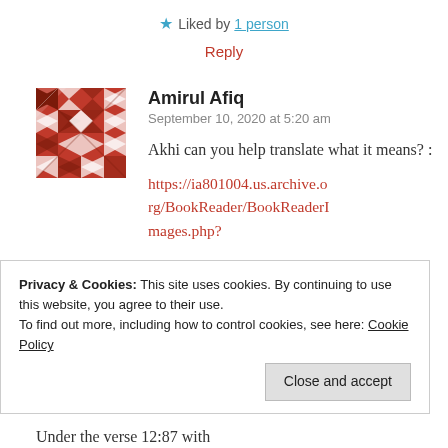★ Liked by 1 person
Reply
[Figure (illustration): Red geometric avatar/icon with cross-like pattern in a square]
Amirul Afiq
September 10, 2020 at 5:20 am
Akhi can you help translate what it means? :
https://ia801004.us.archive.org/BookReader/BookReaderImages.php?
Privacy & Cookies: This site uses cookies. By continuing to use this website, you agree to their use.
To find out more, including how to control cookies, see here: Cookie Policy
Close and accept
Under the verse 12:87 with